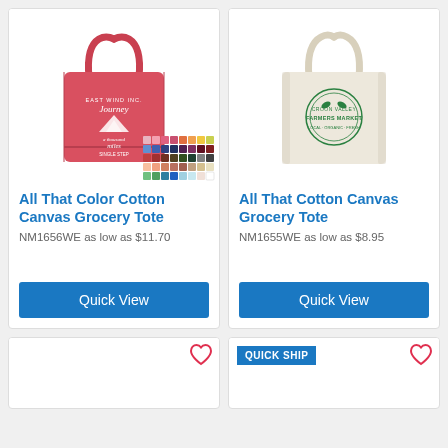[Figure (photo): Red cotton canvas grocery tote bag with white mountain/journey graphic print and color swatch grid]
All That Color Cotton Canvas Grocery Tote
NM1656WE as low as $11.70
[Figure (photo): Natural/cream cotton canvas grocery tote bag with green circular farmers market logo print]
All That Cotton Canvas Grocery Tote
NM1655WE as low as $8.95
[Figure (photo): Partial product card with heart icon, bottom of page]
[Figure (photo): Partial product card with QUICK SHIP badge and heart icon, bottom of page]